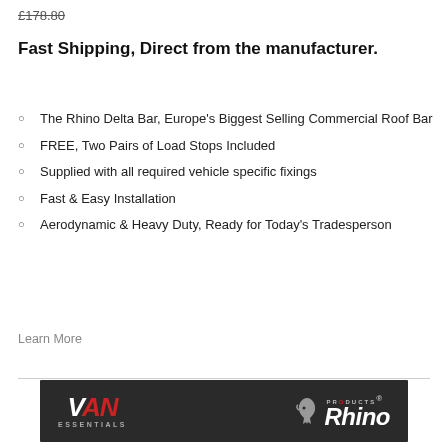£178.80
Fast Shipping, Direct from the manufacturer.
The Rhino Delta Bar, Europe's Biggest Selling Commercial Roof Bar
FREE, Two Pairs of Load Stops Included
Supplied with all required vehicle specific fixings
Fast & Easy Installation
Aerodynamic & Heavy Duty, Ready for Today's Tradesperson
Learn More
[Figure (logo): Van Essentials and Rhino Products logos on dark banner]